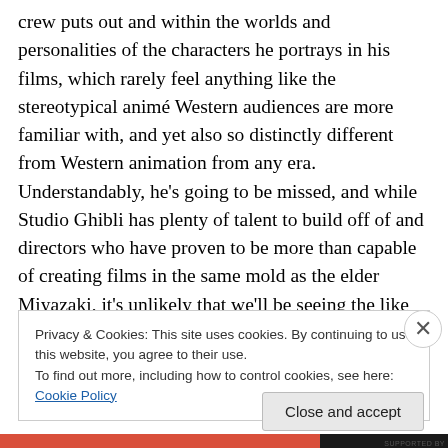crew puts out and within the worlds and personalities of the characters he portrays in his films, which rarely feel anything like the stereotypical animé Western audiences are more familiar with, and yet also so distinctly different from Western animation from any era. Understandably, he's going to be missed, and while Studio Ghibli has plenty of talent to build off of and directors who have proven to be more than capable of creating films in the same mold as the elder Miyazaki, it's unlikely that we'll be seeing the like of his work ever again (so long as he's actually serious about staying retired). Continue reading
Privacy & Cookies: This site uses cookies. By continuing to use this website, you agree to their use.
To find out more, including how to control cookies, see here: Cookie Policy
Close and accept